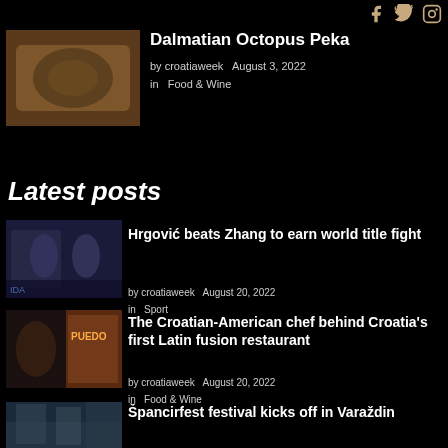Social icons: Facebook, Twitter, Instagram
Dalmatian Octopus Peka
by croatiaweek  August 3, 2022
in  Food & Wine
Latest posts
Hrgović beats Zhang to earn world title fight
by croatiaweek  August 20, 2022
in  Sport
The Croatian-American chef behind Croatia's first Latin fusion restaurant
by croatiaweek  August 20, 2022
in  Food & Wine
Špancirfest festival kicks off in Varaždin